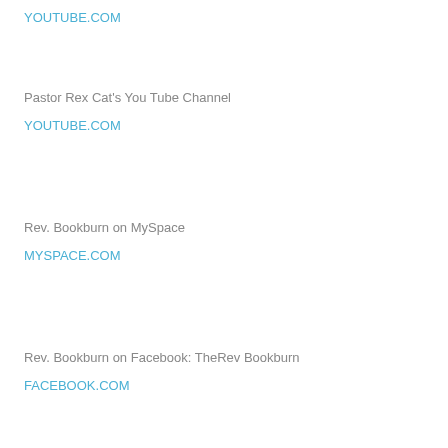YOUTUBE.COM
Pastor Rex Cat's You Tube Channel
YOUTUBE.COM
Rev. Bookburn on MySpace
MYSPACE.COM
Rev. Bookburn on Facebook: TheRev Bookburn
FACEBOOK.COM